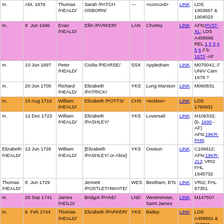| Rel | Date | Name | Spouse | Co | Place | Link | Notes |
| --- | --- | --- | --- | --- | --- | --- | --- |
| m. | Abt. 1676 | Thomas /HEALD/ | Sarah /PATCH OSBORN/ | --- | <concord> | LINK | LDS 1903667 & 1904023 |
| m. | 8 Jun 1696 | Evan /HEALD/ | Ellin /PARKER/ | LAN | Chorley | LINK | AFN:PV37-XL; LDS A458666 REL 1 2 3 4 5 6 // b. 1673 -AF |
| m. | 10 Jun 1697 | Peter /HEALD/ | Cicilia /PEARSE/ | SSX | Appledram | LINK | M070041; // UNIV Cam 1678 ? |
| m. | 20 Jun 1705 | Richard /HEALD/ | Elizabeth /PATRICK/ | YKS | Long Marston | LINK | M060831 |
| m. | 15 Aug 1719 | William /HEALD/ | Elizabeth /POTTS/ | CHS | <eckles> | LINK | LDS 1760931 |
| m. | 12 Dec 1723 | William /HEALD/ | Elizabeth /PASHLEY/ | YKS | Loversall | LINK | M106332; (b. 1690 - AF) AFN:19KR-PH9; |
| Elizabeth /HEALD/ | 12 Jun 1726 | William /HEALD/ | [Elizabeth /PASHLEY/ or Alice] | YKS | Owston | LINK | C106812; AFN:19KR-J1J; VRI2 FHL 1545732 |
| Thomas /HEALD/ | 8 Jun 1729 |  | Jennett /POSTLETHWAITE/ | WES | Beetham, BTs | LINK | VRI2; FHL 97351 |
| m. | 28 Sep 1741 | James /HEILD/ | Bridgot /PANE/ | LND | Westminster, Saint James | LINK | M147507 |
| m. | 6 Feb 1744 | Thomas /HEALD/ | Elizabeth /PARKER/ | YKS | Batley | LINK | LDS A458591 & 458591 |
| m. | 25 Feb 1749 | William /HEALD/ | Anne /POOLE/ | YKS | Owston | LINK | M106812; AFN:19KR-J0B; VRI2 FHL 1545732 |
| m. | 2 Sep 1754 | Thos. /HEALD/ | Eliz. /POTTER/ | YKS | Sheffield, Cathedral Saint Peter | LINK | M007756 |
| m. | 24 Jan 1763 | George /HEALD/ | Hannah /PEARSON/ | DBY | Chesterfield | LINK | M035863 |
| m. | 18 Nov 1768 | Whitley /HEALD/ | Alice /PRESTON/ | LND | Westminster, Saint Anne Soho | LINK | M062365; // b. 1736 UNIV Cam 1755 |
| m. | 8 Apr 1778 | Samuel /HEALD/ | Mary /PARKER/ | YKS | Wakefield, All Saints | LINK | M018303 |
| m. | 7 Sep 1789 | William /HEALD/ | Frances /PALEN/ | LND | Stepney, Saint Dunstan | LINK | M055768 |
| m. |  | Isaac |  |  | Macclesfield | LINK | LDS 1760906 & |